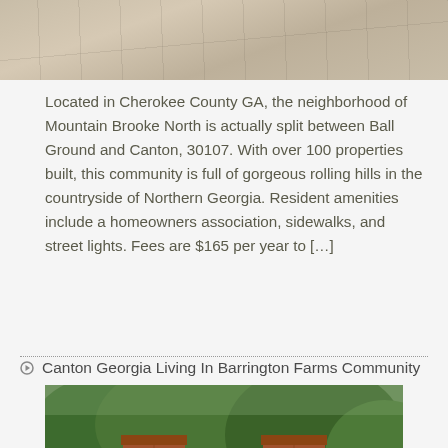[Figure (photo): Top portion of a concrete or pavement surface, beige/tan colored, cropped at the top of the page]
Located in Cherokee County GA, the neighborhood of Mountain Brooke North is actually split between Ball Ground and Canton, 30107. With over 100 properties built, this community is full of gorgeous rolling hills in the countryside of Northern Georgia. Resident amenities include a homeowners association, sidewalks, and street lights. Fees are $165 per year to […]
Canton Georgia Living In Barrington Farms Community
[Figure (photo): Entrance gate sign for Barrington Farms community with brick pillars and a sign reading BARRINGTON FARMS, surrounded by trees and greenery]